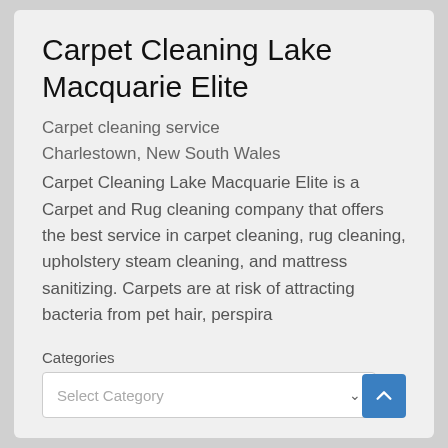Carpet Cleaning Lake Macquarie Elite
Carpet cleaning service
Charlestown, New South Wales
Carpet Cleaning Lake Macquarie Elite is a Carpet and Rug cleaning company that offers the best service in carpet cleaning, rug cleaning, upholstery steam cleaning, and mattress sanitizing. Carpets are at risk of attracting bacteria from pet hair, perspira
Categories
Select Category